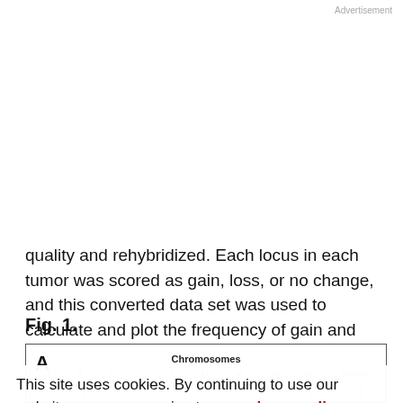Advertisement
quality and rehybridized. Each locus in each tumor was scored as gain, loss, or no change, and this converted data set was used to calculate and plot the frequency of gain and loss at each locus (BAC) on the array.
Fig. 1.
[Figure (other): Figure 1A showing chromosomes array CGH data panel with chromosome numbers 1 through X on x-axis and frequency data with pink/red gridlines, partially visible]
This site uses cookies. By continuing to use our website, you are agreeing to our privacy policy. Accept